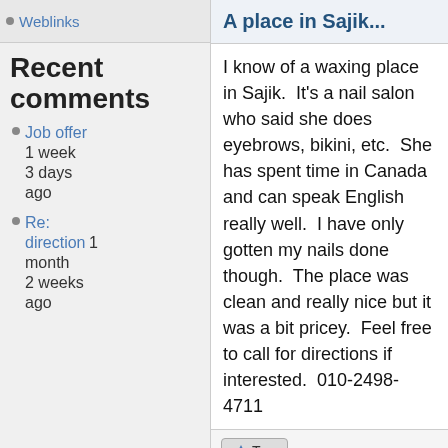Weblinks
Recent comments
Job offer 1 week 3 days ago
Re: direction 1 month 2 weeks ago
A place in Sajik...
I know of a waxing place in Sajik.  It's a nail salon who said she does eyebrows, bikini, etc.  She has spent time in Canada and can speak English really well.  I have only gotten my nails done though.  The place was clean and really nice but it was a bit pricey.  Feel free to call for directions if interested.  010-2498-4711
1  Log in or register to post comments
Fri, 03/05/2010 - 00:33  #9
Bernardi
Offline